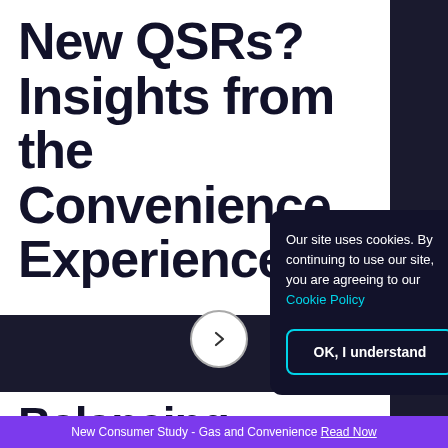New QSRs? Insights from the Convenience Experience
Our site uses cookies. By continuing to use our site, you are agreeing to our Cookie Policy
OK, I understand
Balancing Privacy, Personalization,
New Consumer Study - Gas and Convenience Read Now